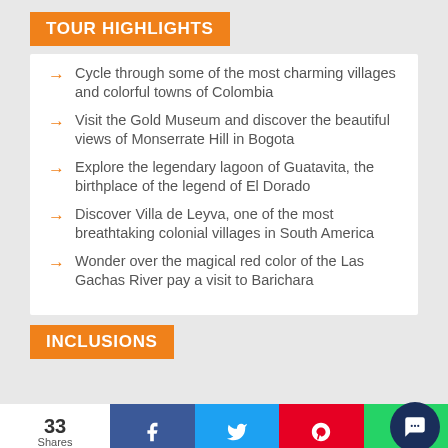TOUR HIGHLIGHTS
Cycle through some of the most charming villages and colorful towns of Colombia
Visit the Gold Museum and discover the beautiful views of Monserrate Hill in Bogota
Explore the legendary lagoon of Guatavita, the birthplace of the legend of El Dorado
Discover Villa de Leyva, one of the most breathtaking colonial villages in South America
Wonder over the magical red color of the Las Gachas River pay a visit to Barichara
INCLUSIONS
33 Shares